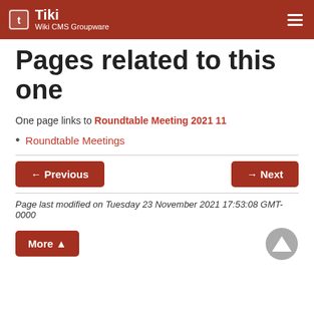Tiki Wiki CMS Groupware
Pages related to this one
One page links to Roundtable Meeting 2021 11
Roundtable Meetings
Page last modified on Tuesday 23 November 2021 17:53:08 GMT-0000